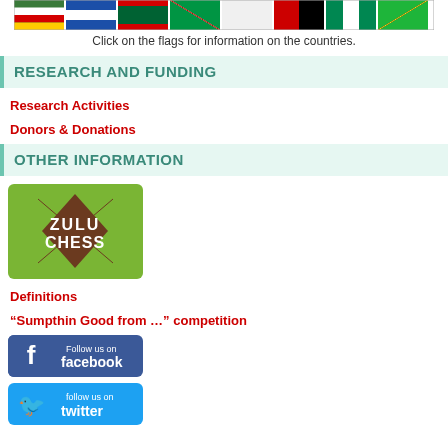[Figure (illustration): Row of national flags for various countries]
Click on the flags for information on the countries.
RESEARCH AND FUNDING
Research Activities
Donors & Donations
OTHER INFORMATION
[Figure (logo): Zulu Chess logo - green background with brown diamond shield and spears, white text ZULU CHESS]
Definitions
“Sumpthin Good from …” competition
[Figure (logo): Facebook Follow us on facebook button]
[Figure (logo): Twitter follow us on twitter button]